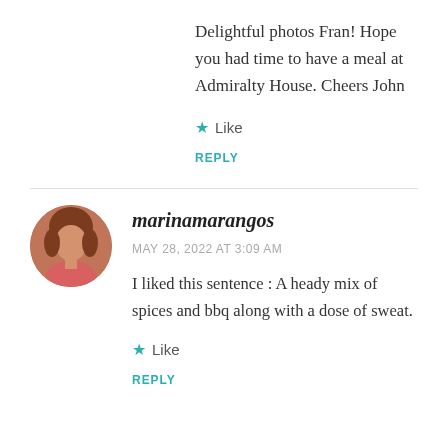Delightful photos Fran! Hope you had time to have a meal at Admiralty House. Cheers John
Like
REPLY
[Figure (photo): Circular avatar photo of a woman with brown hair wearing a pink/coral top]
marinamarangos
MAY 28, 2022 AT 3:09 AM
I liked this sentence : A heady mix of spices and bbq along with a dose of sweat.
Like
REPLY